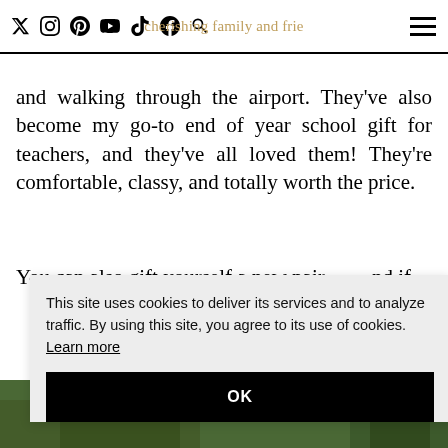[social media icons] [nav text: cherishing family and frie...] [hamburger menu]
and walking through the airport. They've also become my go-to end of year school gift for teachers, and they've all loved them! They're comfortable, classy, and totally worth the price.
You can also gift yourself a new pair and if [obscured by overlay] so a [obscured] win [obscured] as [obscured]
This site uses cookies to deliver its services and to analyze traffic. By using this site, you agree to its use of cookies. Learn more
OK
[Figure (photo): Bottom strip showing partial photo with green foliage background]